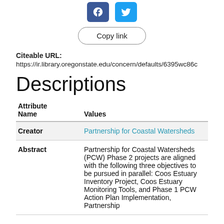[Figure (other): Social media share buttons: Facebook (blue) and Twitter (light blue)]
Copy link
Citeable URL:
https://ir.library.oregonstate.edu/concern/defaults/6395wc86c
Descriptions
| Attribute Name | Values |
| --- | --- |
| Creator | Partnership for Coastal Watersheds |
| Abstract | Partnership for Coastal Watersheds (PCW) Phase 2 projects are aligned with the following three objectives to be pursued in parallel: Coos Estuary Inventory Project, Coos Estuary Monitoring Tools, and Phase 1 PCW Action Plan Implementation, Partnership |